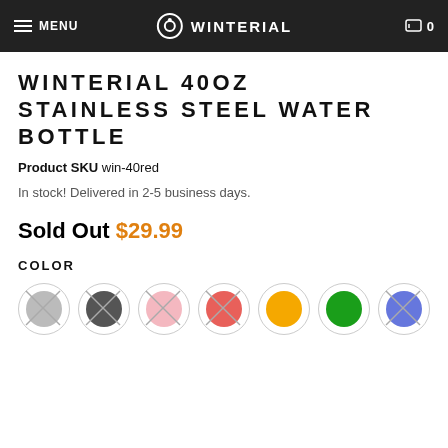MENU | WINTERIAL | 0
WINTERIAL 40OZ STAINLESS STEEL WATER BOTTLE
Product SKU win-40red
In stock! Delivered in 2-5 business days.
Sold Out $29.99
COLOR
[Figure (other): Seven color swatches for product color selection: silver (crossed out), dark gray (crossed out), light pink (crossed out), red/coral (crossed out), orange (not crossed out), green (not crossed out), blue/purple (crossed out)]